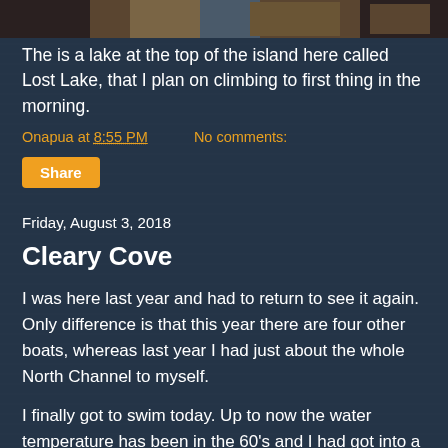[Figure (photo): Partial view of a photo strip at the top of the page showing outdoor/gear imagery]
The is a lake at the top of the island here called Lost Lake, that I plan on climbing to first thing in the morning.
Onapua at 8:55 PM    No comments:
Share
Friday, August 3, 2018
Cleary Cove
I was here last year and had to return to see it again. Only difference is that this year there are four other boats, whereas last year I had just about the whole North Channel to myself.
I finally got to swim today. Up to now the water temperature has been in the 60's and I had got into a routine of climbing down my swim ladder and putting my legs into the water for a few minutes or so until I got used to it enough that I could float around for a few minutes on a pool noodle. Today the